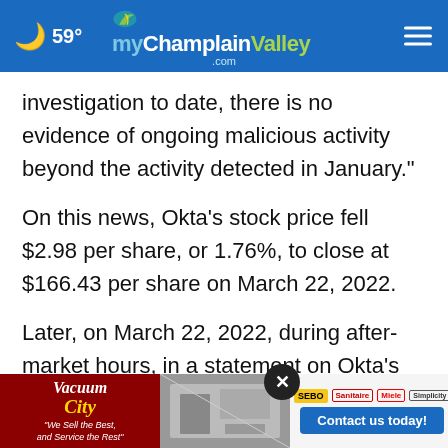59° myChamplainValley.com
investigation to date, there is no evidence of ongoing malicious activity beyond the activity detected in January."
On this news, Okta's stock price fell $2.98 per share, or 1.76%, to close at $166.43 per share on March 22, 2022.
Later, on March 22, 2022, during after-market hours, in a statement on Okta's website the Company... David Bradbury ("Bradbury") disclosed: inter
[Figure (other): Vacuum City advertisement banner with logo, store image, brand logos, and Contact us today button]